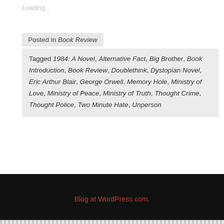Loading...
Posted in Book Review
Tagged 1984: A Novel, Alternative Fact, Big Brother, Book Introduction, Book Review, Doublethink, Dystopian Novel, Eric Arthur Blair, George Orwell, Memory Hole, Ministry of Love, Ministry of Peace, Ministry of Truth, Thought Crime, Thought Police, Two Minute Hate, Unperson
Blog at WordPress.com.